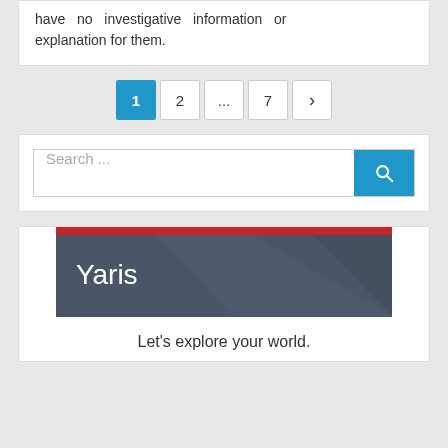have no investigative information or explanation for them.
[Figure (screenshot): Pagination control showing page buttons: 1 (active, blue), 2, ..., 7, and a next arrow >]
[Figure (screenshot): Search bar with placeholder 'Search ...' and a blue search button with magnifying glass icon]
[Figure (screenshot): Card with a dark grey banner showing red top bar and 'Yaris' text, and tagline 'Let's explore your world.']